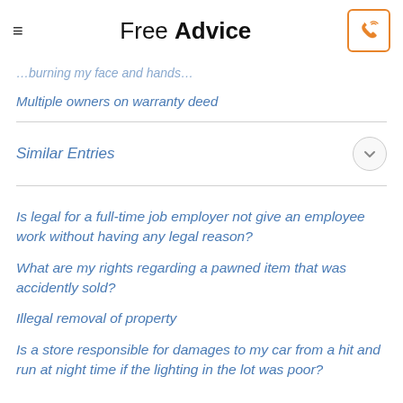Free Advice
…burning my face and hands…
Multiple owners on warranty deed
Similar Entries
Is legal for a full-time job employer not give an employee work without having any legal reason?
What are my rights regarding a pawned item that was accidently sold?
Illegal removal of property
Is a store responsible for damages to my car from a hit and run at night time if the lighting in the lot was poor?